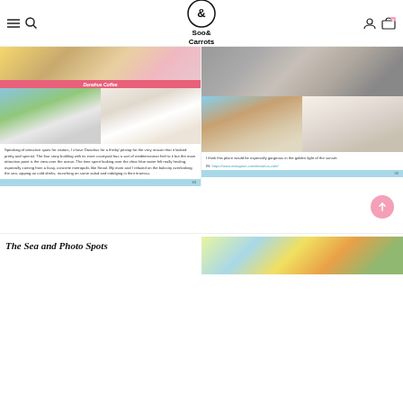Soo& Carrots - navigation header with logo, menu, search, account, and cart icons
[Figure (photo): Top food/drink photo with pink banner reading 'Danahus Coffee']
[Figure (photo): Top right photo showing pavement with letters]
[Figure (photo): Middle left two photos: colorful Mediterranean-style building staircase and white arched walkway]
[Figure (photo): Middle right two photos: ocean view terrace with chandelier and storefront entrance with woman in pink]
Speaking of attractive spots for visitors, I chose Danahus for a thinky' pitstop for the very reason that it looked pretty and special. The four story building with its inner courtyard has a sort of mediterranean feel to it but the main attraction point is the view over the ocean. The time spent looking over the clear blue water felt really healing, especially coming from a busy, concrete metropolis like Seoul. My mom and I relaxed on the balcony overlooking the sea, sipping on cold drinks, munching on some salad and indulging in their tiramisu.
I think this place would be especially gorgeous in the golden light of the sunset.
IG: https://www.instagram.com/danahus.cafe/
[Figure (other): Scroll-to-top pink circular button with upward arrow]
The Sea and Photo Spots
[Figure (photo): Bottom right colorful image]